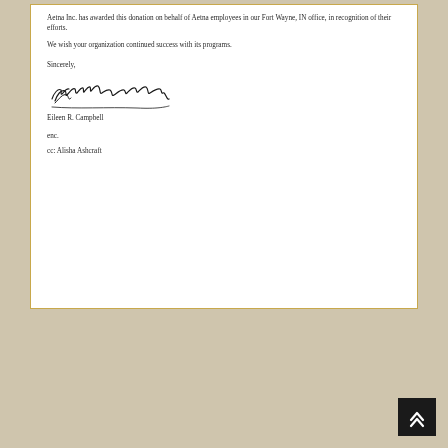Aetna Inc. has awarded this donation on behalf of Aetna employees in our Fort Wayne, IN office, in recognition of their efforts.
We wish your organization continued success with its programs.
Sincerely,
[Figure (illustration): Handwritten cursive signature reading Eileen R. Campbell]
Eileen R. Campbell
enc.
cc: Alisha Ashcraft